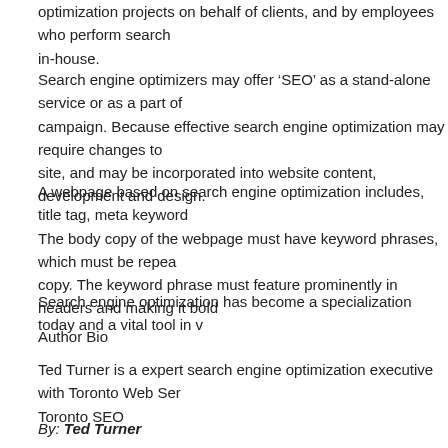optimization projects on behalf of clients, and by employees who perform search in-house.
Search engine optimizers may offer ‘SEO’ as a stand-alone service or as a part of a campaign. Because effective search engine optimization may require changes to the site, and may be incorporated into website content, development and design.
A webpage based on search engine optimization includes, title tag, meta keywords. The body copy of the webpage must have keyword phrases, which must be repeated in copy. The keyword phrase must feature prominently in headers and making it bold.
Search engine optimization has become a specialization today and a vital tool in w...
Author Bio
Ted Turner is a expert search engine optimization executive with Toronto Web Ser... Toronto SEO
By: Ted Turner
Posted in
What Search Engine Optimization Serv... Do you Need?